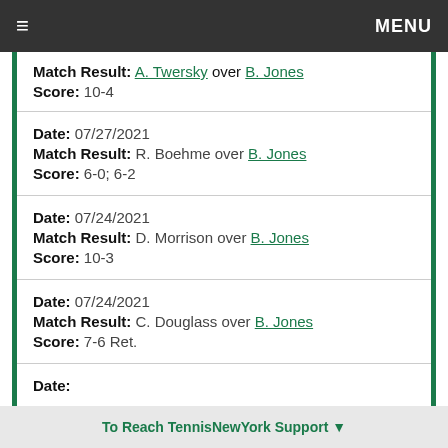≡  MENU
Match Result: A. Twersky over B. Jones
Score: 10-4
Date: 07/27/2021
Match Result: R. Boehme over B. Jones
Score: 6-0; 6-2
Date: 07/24/2021
Match Result: D. Morrison over B. Jones
Score: 10-3
Date: 07/24/2021
Match Result: C. Douglass over B. Jones
Score: 7-6 Ret.
Date: (partial)
To Reach TennisNewYork Support ▼